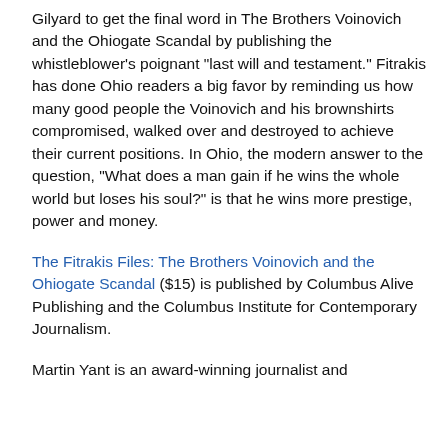Gilyard to get the final word in The Brothers Voinovich and the Ohiogate Scandal by publishing the whistleblower's poignant "last will and testament." Fitrakis has done Ohio readers a big favor by reminding us how many good people the Voinovich and his brownshirts compromised, walked over and destroyed to achieve their current positions. In Ohio, the modern answer to the question, "What does a man gain if he wins the whole world but loses his soul?" is that he wins more prestige, power and money.
The Fitrakis Files: The Brothers Voinovich and the Ohiogate Scandal ($15) is published by Columbus Alive Publishing and the Columbus Institute for Contemporary Journalism.
Martin Yant is an award-winning journalist and